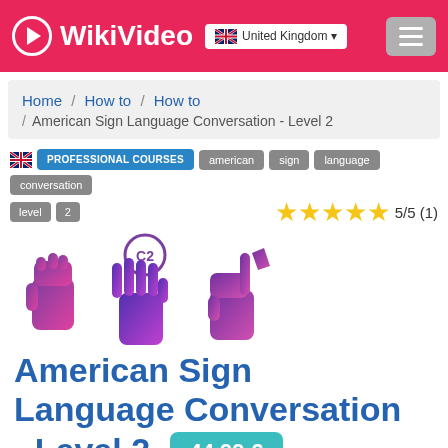WikiVideo | United Kingdom
Home / How to / How to / American Sign Language Conversation - Level 2
PROFESSIONAL COURSES  american  sign  language  conversation  level  2
5/5 (1)
[Figure (illustration): ASL hand signs illustration with C2 badge showing three stylized purple/pink hand gestures for sign language]
American Sign Language Conversation - Level 2  44.99 €